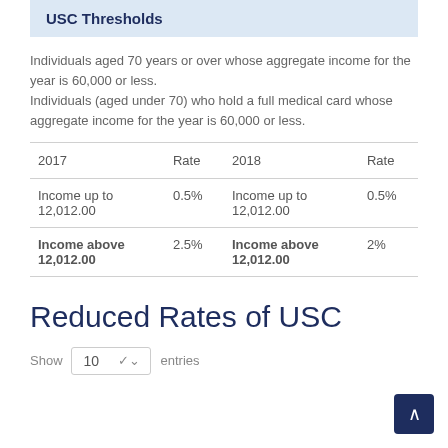USC Thresholds
Individuals aged 70 years or over whose aggregate income for the year is 60,000 or less. Individuals (aged under 70) who hold a full medical card whose aggregate income for the year is 60,000 or less.
| 2017 | Rate | 2018 | Rate |
| --- | --- | --- | --- |
| Income up to 12,012.00 | 0.5% | Income up to 12,012.00 | 0.5% |
| Income above 12,012.00 | 2.5% | Income above 12,012.00 | 2% |
Reduced Rates of USC
Show 10 entries